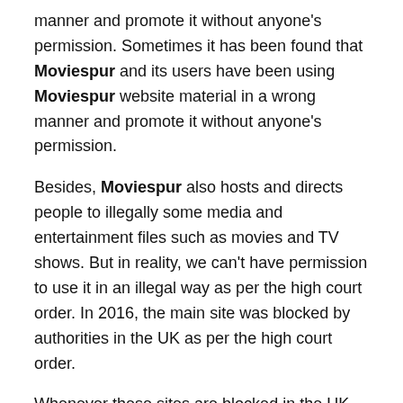manner and promote it without anyone's permission. Sometimes it has been found that Moviespur and its users have been using Moviespur website material in a wrong manner and promote it without anyone's permission.
Besides, Moviespur also hosts and directs people to illegally some media and entertainment files such as movies and TV shows. But in reality, we can't have permission to use it in an illegal way as per the high court order. In 2016, the main site was blocked by authorities in the UK as per the high court order.
Whenever these sites are blocked in the UK some proxy sites take their place to make confuse users. That's why the high courts have been decided to shutdown Moviespur websites, but it's not easy as we think due to its popularity all around the world.